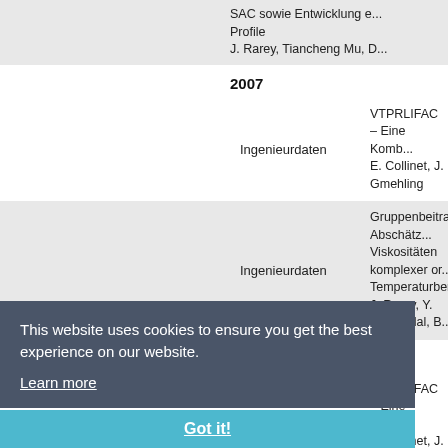SAC sowie Entwicklung eines... Profile
J. Rarey, Tiancheng Mu, D...
2007
Ingenieurdaten   VTPRLIFAC – Eine Komb...
E. Collinet, J. Gmehling
Ingenieurdaten   Gruppenbeitrags-Abschät...
Viskositäten komplexer or...
Temperaturbereich
J. Rarey, Y. Nannoolal, B...
2006
Ingenieurdaten   VTPRLIFAC – Eine Komb...
E. Collinet, J. Gmehling
Ingenieurdaten   VGTPR – Kombination de...
Modells mit Hilfe einer exa...
E. Collinet, J. Rarey, J. Gr...
2002
ICCT Rostock   Exploring Physical Prope...
Help of the Dortmund Data...
(DDBSP) J. Gmehling, J. R...
This website uses cookies to ensure you get the best experience on our website.
Learn more
Got it!